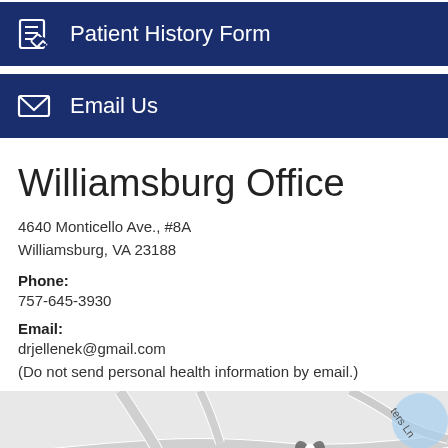Patient History Form
Email Us
Williamsburg Office
4640 Monticello Ave., #8A
Williamsburg, VA 23188
Phone:
757-645-3930
Email:
drjellenek@gmail.com
(Do not send personal health information by email.)
[Figure (map): Google Maps embed showing Veterans of Foreign Wars location near Williamsburg office with a map pin marker]